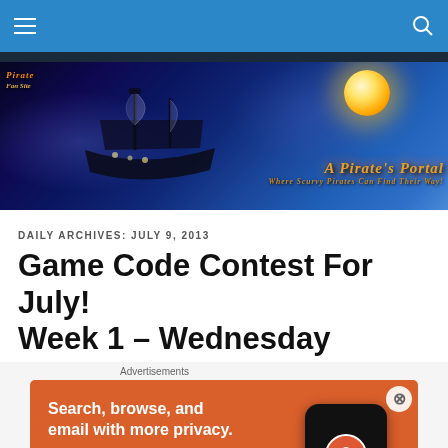Navigation bar with hamburger menu and search icon
[Figure (illustration): A Pirate's Portal fan site banner with a dark blue mystical background, pirate ship, glowing moon, and orange stylized text reading 'A Pirate's Portal - Where Scurvy Pirates Can Find Their Way!']
DAILY ARCHIVES: JULY 9, 2013
Game Code Contest For July! Week 1 – Wednesday
Advertisements
[Figure (screenshot): DuckDuckGo advertisement banner on orange background with text 'Search, browse, and email with more privacy. All in One Free App' and a phone showing the DuckDuckGo logo]